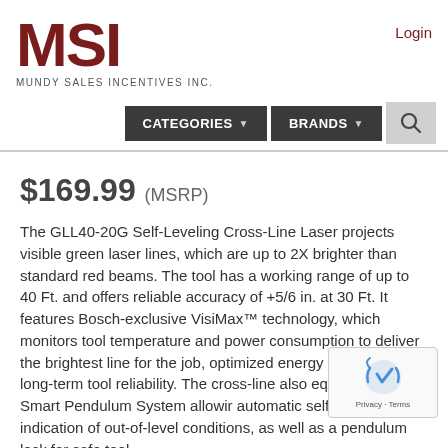[Figure (logo): MSI logo with text MUNDY SALES INCENTIVES INC. in dark red]
Login
CATEGORIES ▼   BRANDS ▼   🔍
$169.99 (MSRP)
The GLL40-20G Self-Leveling Cross-Line Laser projects visible green laser lines, which are up to 2X brighter than standard red beams. The tool has a working range of up to 40 Ft. and offers reliable accuracy of +5/6 in. at 30 Ft. It features Bosch-exclusive VisiMax™ technology, which monitors tool temperature and power consumption to deliver the brightest line for the job, optimized energy efficiency, and long-term tool reliability. The cross-line also equipped with a Smart Pendulum System allowir automatic self-leveling and indication of out-of-level conditions, as well as a pendulum lock for safe tool